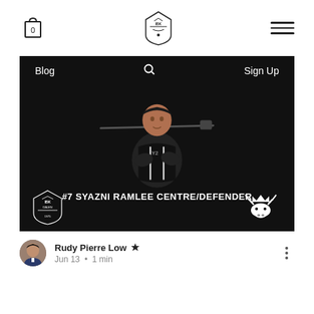[Figure (screenshot): Website navigation bar with cart icon (showing 0), center shield/crest logo, and hamburger menu icon]
[Figure (photo): Dark background sports photo of player #7 Syazni Ramlee holding a floorball stick in mouth, wearing black jacket with arms crossed. Text '#7 SYAZNI RAMLEE CENTRE/DEFENDER' at bottom. IBK Dalen club logo at bottom left, moose/crown logo at bottom right. Inner nav shows 'Blog', search icon, and 'Sign Up'.]
Rudy Pierre Low  Jun 13 · 1 min